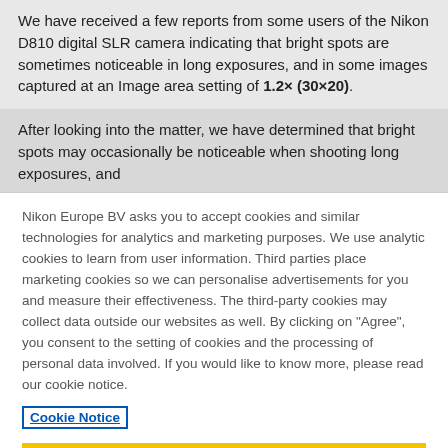We have received a few reports from some users of the Nikon D810 digital SLR camera indicating that bright spots are sometimes noticeable in long exposures, and in some images captured at an Image area setting of 1.2× (30×20).
After looking into the matter, we have determined that bright spots may occasionally be noticeable when shooting long exposures, and
Nikon Europe BV asks you to accept cookies and similar technologies for analytics and marketing purposes. We use analytic cookies to learn from user information. Third parties place marketing cookies so we can personalise advertisements for you and measure their effectiveness. The third-party cookies may collect data outside our websites as well. By clicking on "Agree", you consent to the setting of cookies and the processing of personal data involved. If you would like to know more, please read our cookie notice.
Cookie Notice
Cookies Settings
Agree